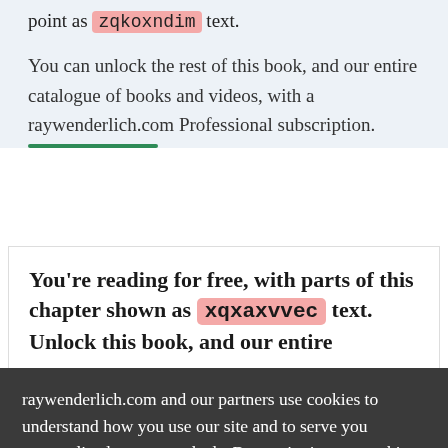point as zqkoxndim text.
You can unlock the rest of this book, and our entire catalogue of books and videos, with a raywenderlich.com Professional subscription.
You're reading for free, with parts of this chapter shown as xqxaxvvec text. Unlock this book, and our entire
raywenderlich.com and our partners use cookies to understand how you use our site and to serve you personalized content and ads. By continuing to use this site, you accept these cookies, our privacy policy and terms of service .
OK ✓
Manage privacy settings